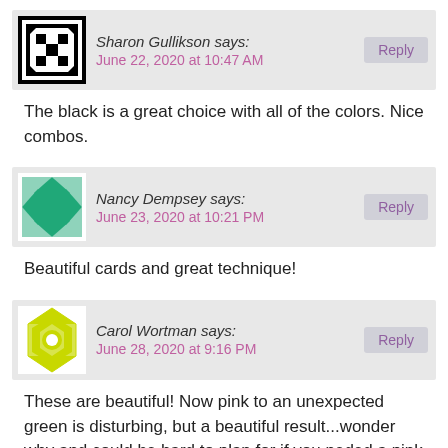Sharon Gullikson says:
June 22, 2020 at 10:47 AM
The black is a great choice with all of the colors. Nice combos.
Nancy Dempsey says:
June 23, 2020 at 10:21 PM
Beautiful cards and great technique!
Carol Wortman says:
June 28, 2020 at 9:16 PM
These are beautiful! Now pink to an unexpected green is disturbing, but a beautiful result...wonder why and could be hard to plan for if you neded a pink flower. Love these!